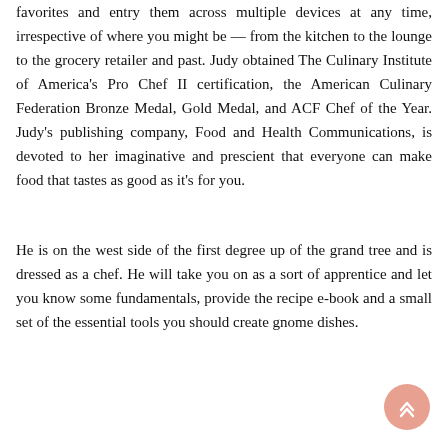favorites and entry them across multiple devices at any time, irrespective of where you might be — from the kitchen to the lounge to the grocery retailer and past. Judy obtained The Culinary Institute of America's Pro Chef II certification, the American Culinary Federation Bronze Medal, Gold Medal, and ACF Chef of the Year. Judy's publishing company, Food and Health Communications, is devoted to her imaginative and prescient that everyone can make food that tastes as good as it's for you.
He is on the west side of the first degree up of the grand tree and is dressed as a chef. He will take you on as a sort of apprentice and let you know some fundamentals, provide the recipe e-book and a small set of the essential tools you should create gnome dishes.